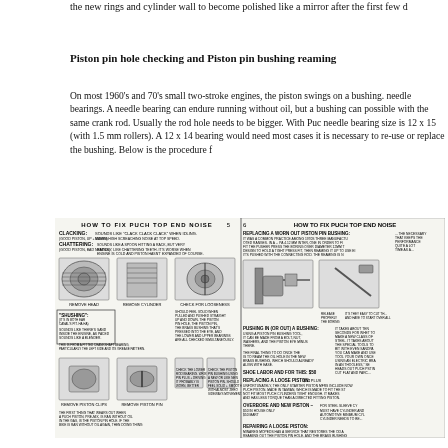the new rings and cylinder wall to become polished like a mirror after the first few d
Piston pin hole checking and Piston pin bushing reaming
On most 1960's and 70's small two-stroke engines, the piston swings on a bushing. needle bearings. A needle bearing can endure running without oil, but a bushing can possible with the same crank rod. Usually the rod hole needs to be bigger. With Puc needle bearing size is 12 x 15 (with 1.5 mm rollers). A 12 x 14 bearing would need most cases it is necessary to re-use or replace the bushing. Below is the procedure f
[Figure (engineering-diagram): Two-page spread diagram titled 'HOW TO FIX PUCH TOP END NOISE' showing pages 5 and 6. Left page (5) shows instructions for diagnosing clacking, chattering, and shushing noises with illustrations of removing head, removing cylinder, checking for looseness, removing piston clips, removing piston pin, checking lower rod bearing. Right page (6) shows instructions for replacing a worn out piston pin bushing, pushing in/out a bushing, replacing a loose piston, overbore and new piston, and repairing a loose piston with small technical illustrations and text.]